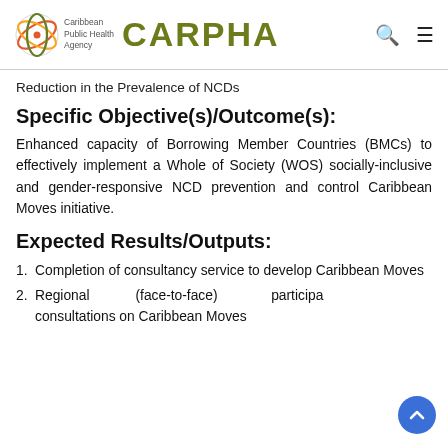Caribbean Public Health Agency | CARPHA
Reduction in the Prevalence of NCDs
Specific Objective(s)/Outcome(s):
Enhanced capacity of Borrowing Member Countries (BMCs) to effectively implement a Whole of Society (WOS) socially-inclusive and gender-responsive NCD prevention and control Caribbean Moves initiative.
Expected Results/Outputs:
1. Completion of consultancy service to develop Caribbean Moves
2. Regional (face-to-face) participatory consultations on Caribbean Moves